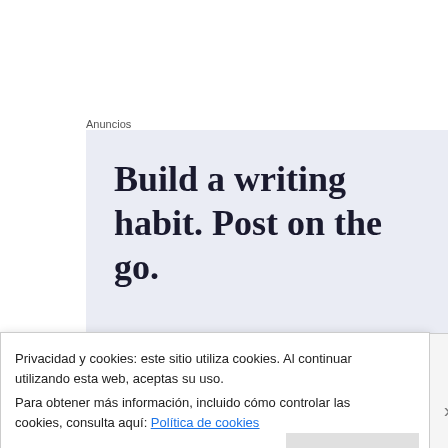Anuncios
[Figure (screenshot): Advertisement with text: Build a writing habit. Post on the go. Light blue-grey background.]
RESPECTO AL PEDIDO DEL EJECUTIVO AL CONGRESO DE LA
SIMULTANEO CONCURRENTE A LA CONTRALORÍA DE LA REPÚBLICA PARA LAS COMPRAS Y CONTRATACION DE BIENES Y SERVICIOS EN
Privacidad y cookies: este sitio utiliza cookies. Al continuar utilizando esta web, aceptas su uso.
Para obtener más información, incluido cómo controlar las cookies, consulta aquí: Política de cookies
Cerrar y aceptar